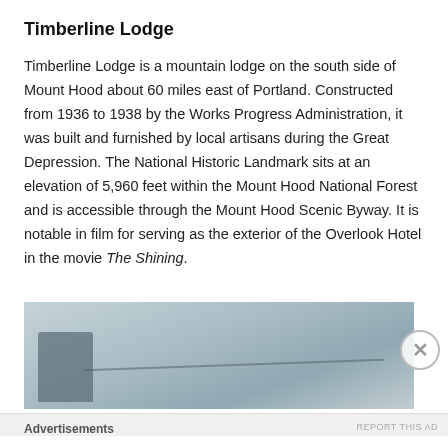Timberline Lodge
Timberline Lodge is a mountain lodge on the south side of Mount Hood about 60 miles east of Portland. Constructed from 1936 to 1938 by the Works Progress Administration, it was built and furnished by local artisans during the Great Depression. The National Historic Landmark sits at an elevation of 5,960 feet within the Mount Hood National Forest and is accessible through the Mount Hood Scenic Byway. It is notable in film for serving as the exterior of the Overlook Hotel in the movie The Shining.
[Figure (photo): Partial photograph of Timberline Lodge, showing a misty/snowy exterior view with structural elements visible against a pale grey-blue sky.]
Advertisements